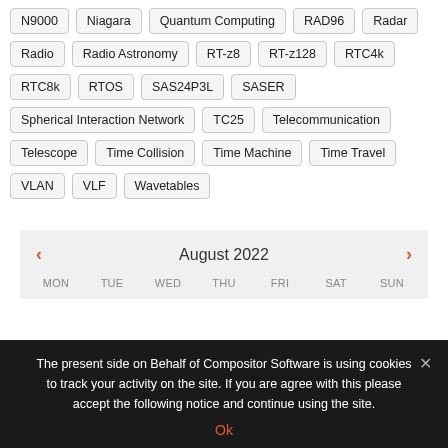N9000
Niagara
Quantum Computing
RAD96
Radar
Radio
Radio Astronomy
RT-z8
RT-z128
RTC4k
RTC8k
RTOS
SAS24P3L
SASER
Spherical Interaction Network
TC25
Telecommunication
Telescope
Time Collision
Time Machine
Time Travel
VLAN
VLF
Wavetables
[Figure (screenshot): Calendar widget showing August 2022 with navigation arrows and day-of-week headers MON TUE WED THU FRI SAT SUN]
The present side on Behalf of Compositor Software is using cookies to track your activity on the site. If you are agree with this please accept the following notice and continue using the site.
Ok